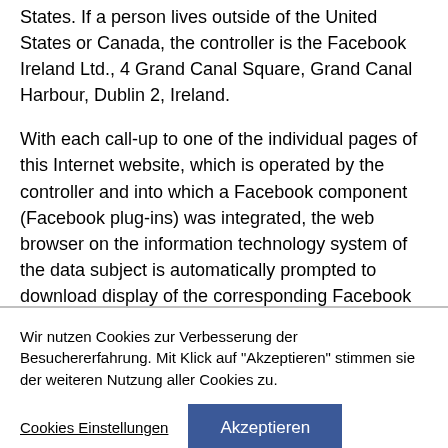States. If a person lives outside of the United States or Canada, the controller is the Facebook Ireland Ltd., 4 Grand Canal Square, Grand Canal Harbour, Dublin 2, Ireland.
With each call-up to one of the individual pages of this Internet website, which is operated by the controller and into which a Facebook component (Facebook plug-ins) was integrated, the web browser on the information technology system of the data subject is automatically prompted to download display of the corresponding Facebook component from Facebook
Wir nutzen Cookies zur Verbesserung der Besuchererfahrung. Mit Klick auf "Akzeptieren" stimmen sie der weiteren Nutzung aller Cookies zu.
Cookies Einstellungen
Akzeptieren